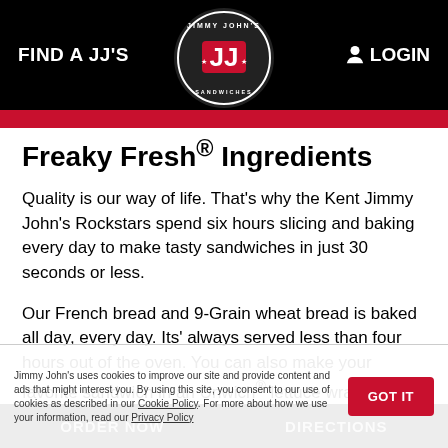FIND A JJ'S   [Jimmy John's Logo]   LOGIN
Freaky Fresh® Ingredients
Quality is our way of life. That's why the Kent Jimmy John's Rockstars spend six hours slicing and baking every day to make tasty sandwiches in just 30 seconds or less.
Our French bread and 9-Grain wheat bread is baked all day, every day. Its' always served less than four hours out of the oven. You can also make your favorite sandwich in an Unwich® lettuce wrap!
We use all-natural*, high-quality meats, and we slice and weight each portion to perfection daily. Our veggies are locally purchased delivered to the Kent Jimmy John's
Jimmy John's uses cookies to improve our site and provide content and ads that might interest you. By using this site, you consent to our use of cookies as described in our Cookie Policy. For more about how we use your information, read our Privacy Policy
ORDER NOW   DIRECTIONS